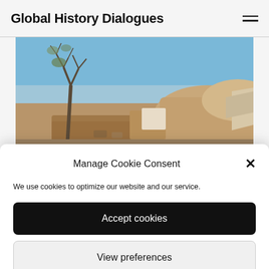Global History Dialogues
[Figure (photo): Outdoor ruins/archaeological site with dry bare tree on left, mud-brick structures and rocky terrain under a clear blue sky]
Manage Cookie Consent
We use cookies to optimize our website and our service.
Accept cookies
View preferences
Cookie Policy